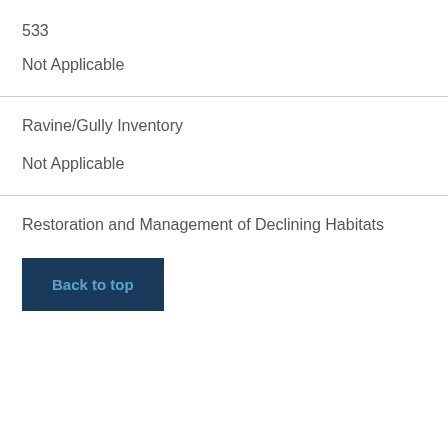533
Not Applicable
Ravine/Gully Inventory
Not Applicable
Restoration and Management of Declining Habitats
Back to top